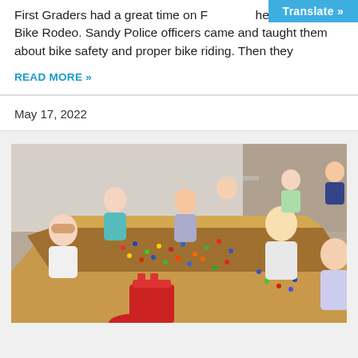First Graders had a great time on F[riday at the] Bike Rodeo. Sandy Police officers came and taught them about bike safety and proper bike riding. Then they
READ MORE »
May 17, 2022
[Figure (photo): Children sitting around a large table playing with Lego bricks in a classroom setting. A red Lego storage bucket is visible in the foreground.]